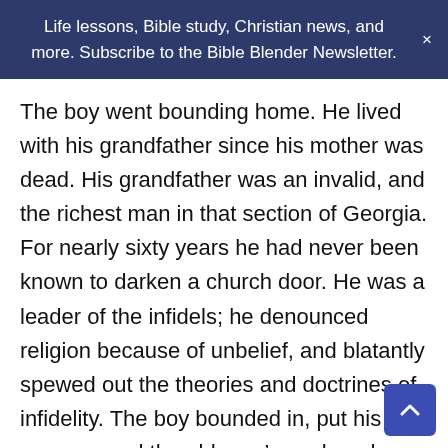Life lessons, Bible study, Christian news, and more. Subscribe to the Bible Blender Newsletter.
The boy went bounding home. He lived with his grandfather since his mother was dead. His grandfather was an invalid, and the richest man in that section of Georgia. For nearly sixty years he had never been known to darken a church door. He was a leader of the infidels; he denounced religion because of unbelief, and blatantly spewed out the theories and doctrines of infidelity. The boy bounded in, put his arms around the old man’s neck and said, “Grandpa, they took me into the church, and Dr. R… baptized me and… [life